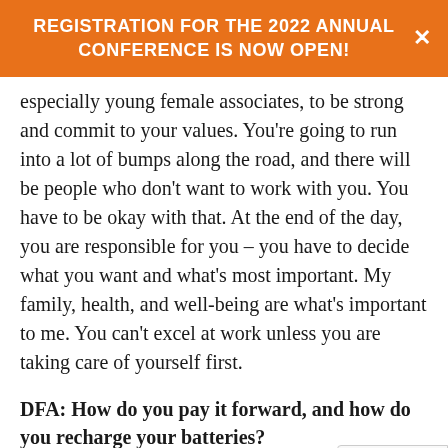REGISTRATION FOR THE 2022 ANNUAL CONFERENCE IS NOW OPEN!
especially young female associates, to be strong and commit to your values. You're going to run into a lot of bumps along the road, and there will be people who don't want to work with you. You have to be okay with that. At the end of the day, you are responsible for you – you have to decide what you want and what's most important. My family, health, and well-being are what's important to me. You can't excel at work unless you are taking care of yourself first.
DFA: How do you pay it forward, and how do you recharge your batteries?
IS: Within the legal community, I pay it forward by serving as: the Chair, Elect of the Young